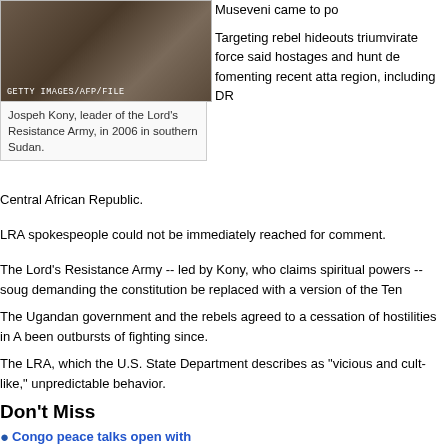[Figure (photo): Jospeh Kony, leader of the Lord's Resistance Army, photographed in 2006 in southern Sudan. Getty Images/AFP/File.]
Jospeh Kony, leader of the Lord's Resistance Army, in 2006 in southern Sudan.
Museveni came to po
Targeting rebel hideouts triumvirate force said hostages and hunt de fomenting recent atta region, including DR
Central African Republic.
LRA spokespeople could not be immediately reached for comment.
The Lord's Resistance Army -- led by Kony, who claims spiritual powers -- soug demanding the constitution be replaced with a version of the Ten Commandme
The Ugandan government and the rebels agreed to a cessation of hostilities in A been outbursts of fighting since.
The LRA, which the U.S. State Department describes as "vicious and cult-like," unpredictable behavior.
Don't Miss
Congo peace talks open with U.N. plea
Local villagers and international human rig rebels of committing widespread abuses, i and girls as soldiers and sex slaves.
In October 2005, the International Crimina warrants for five LRA commanders, including Kony, who is alleged to have "orde campaign of attacks against civilians in Uganda" in 2002, according to the court
The 33 counts against Kony included 21 counts of war crimes.
Charges also included sexual enslavement, rape, inducing rape, directing attac enlisting of children to fight, according to a news release from the court.